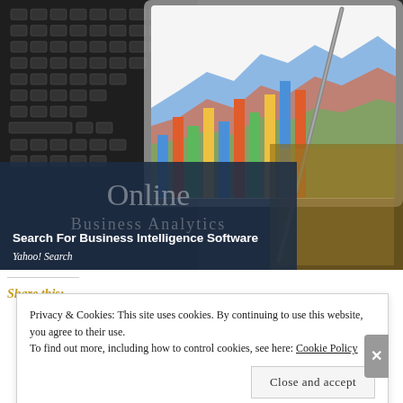[Figure (photo): Photo of a laptop keyboard with a tablet showing business intelligence charts and graphs, and a pen/stylus resting on top. An overlay banner reads 'Online' and 'Business Analytics' with headline 'Search For Business Intelligence Software' and subtext 'Yahoo! Search'.]
Search For Business Intelligence Software
Yahoo! Search
Share this:
Privacy & Cookies: This site uses cookies. By continuing to use this website, you agree to their use.
To find out more, including how to control cookies, see here: Cookie Policy
Close and accept